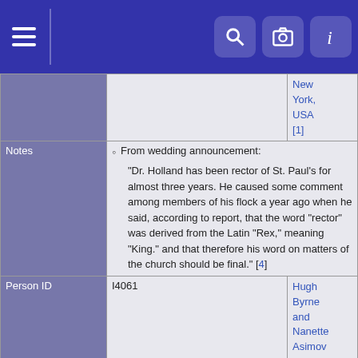[Figure (screenshot): Navigation bar with hamburger menu and search/camera/info icons on blue background]
| Field | Value | Link |
| --- | --- | --- |
|  | New York, USA [1] |  |
| Notes | From wedding announcement:
"Dr. Holland has been rector of St. Paul's for almost three years. He caused some comment among members of his flock a year ago when he said, according to report, that the word "rector" was derived from the Latin "Rex," meaning "King." and that therefore his word on matters of the church should be final." [4] |  |
| Person ID | I4061 | Hugh Byrne and Nanette Asimov Lines |
| Last Modified | 14 Aug 2015 |  |
| Field | Value |
| --- | --- |
| Father | HOLLAND |
| Family ID | F2863 |